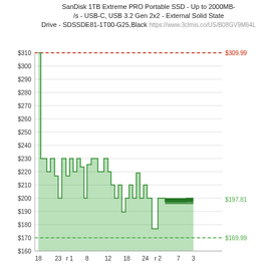SanDisk 1TB Extreme PRO Portable SSD - Up to 2000MB-/s - USB-C, USB 3.2 Gen 2x2 - External Solid State Drive - SDSSDE81-1T00-G25,Black https://www.3clmis.co/US/B08GV9M64L
[Figure (line-chart): Price history step chart showing SanDisk SSD prices over time, ranging from high of $309.99 (dashed red line) to low of $169.99 (dashed green line), current price $197.81]